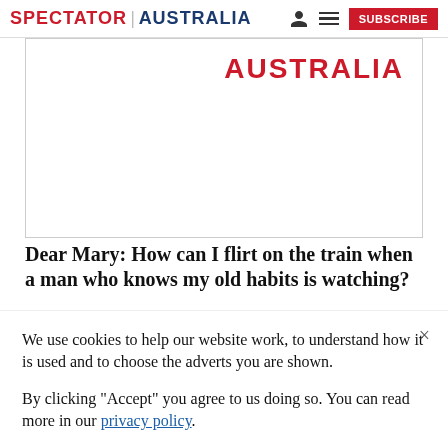SPECTATOR | AUSTRALIA
[Figure (illustration): Magazine cover area showing 'AUSTRALIA' in large red text on white background with border]
Dear Mary: How can I flirt on the train when a man who knows my old habits is watching?
We use cookies to help our website work, to understand how it is used and to choose the adverts you are shown.
By clicking "Accept" you agree to us doing so. You can read more in our privacy policy.